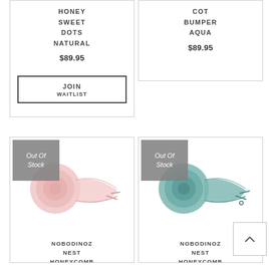HONEY SWEET DOTS NATURAL
$89.95
JOIN WAITLIST
COT BUMPER AQUA
$89.95
[Figure (photo): Pink rolled fabric cot bumper with 'Out Of Stock' overlay badge]
NOBODINOZ NEST HONEYCOMB
[Figure (photo): Teal/green rolled fabric cot bumper with 'Out Of Stock' overlay badge]
NOBODINOZ NEST HONEYCOMB